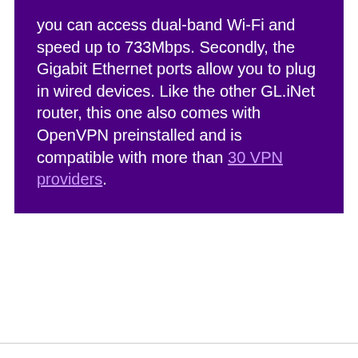you can access dual-band Wi-Fi and speed up to 733Mbps. Secondly, the Gigabit Ethernet ports allow you to plug in wired devices. Like the other GL.iNet router, this one also comes with OpenVPN preinstalled and is compatible with more than 30 VPN providers.